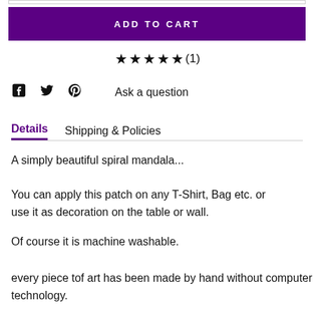ADD TO CART
★★★★★(1)
Facebook Twitter Pinterest Ask a question
Details   Shipping & Policies
A simply beautiful spiral mandala...
You can apply this patch on any T-Shirt, Bag etc. or use it as decoration on the table or wall.
Of course it is machine washable.
every piece tof art has been made by hand without computer technology.